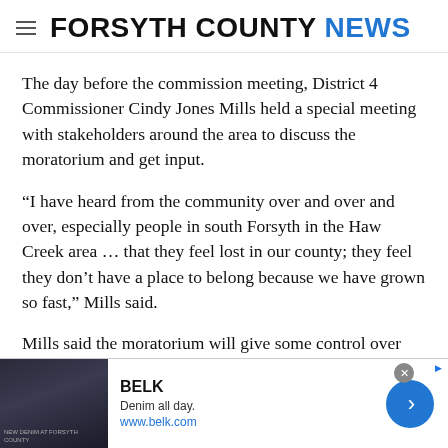FORSYTH COUNTY NEWS
The day before the commission meeting, District 4 Commissioner Cindy Jones Mills held a special meeting with stakeholders around the area to discuss the moratorium and get input.
“I have heard from the community over and over and over, especially people in south Forsyth in the Haw Creek area … that they feel lost in our county; they feel they don’t have a place to belong because we have grown so fast,” Mills said.
Mills said the moratorium will give some control over “horrific zonings” approved over a decade ago.
“I know what is about to happen in Coal Mountain,” Mills said. “I
[Figure (advertisement): BELK advertisement: 'Denim all day. www.belk.com' with model photo and navigation arrow button]